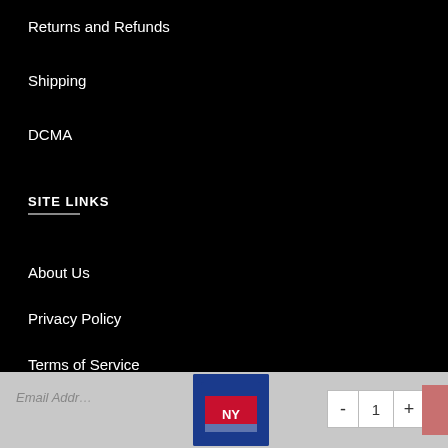Returns and Refunds
Shipping
DCMA
SITE LINKS
About Us
Privacy Policy
Terms of Service
Contact Us
NEWSLETTER
Email Address
[Figure (photo): Product thumbnail - NY Giants item in blue packaging]
- 1 +
ADD TO CART